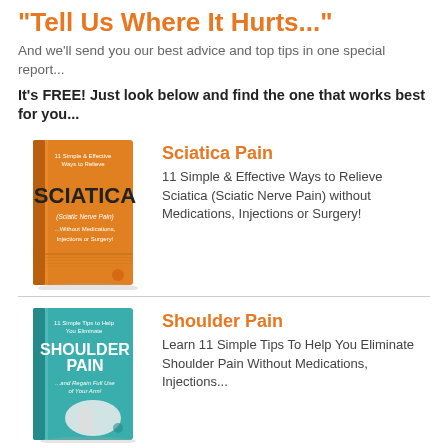"Tell Us Where It Hurts..."
And we'll send you our best advice and top tips in one special report...
It's FREE! Just look below and find the one that works best for you...
[Figure (illustration): Orange book cover titled SCIATICA - 11 Simple & Effective Ways to Relieve Sciatica without Medications, Injections or Surgery]
Sciatica Pain
11 Simple & Effective Ways to Relieve Sciatica (Sciatic Nerve Pain) without Medications, Injections or Surgery!
[Figure (illustration): Teal/blue book cover titled SHOULDER PAIN - 11 Simple Tips to Help You Eliminate Shoulder Pain and Regain Full Use of Your Arm]
Shoulder Pain
Learn 11 Simple Tips To Help You Eliminate Shoulder Pain Without Medications, Injections...